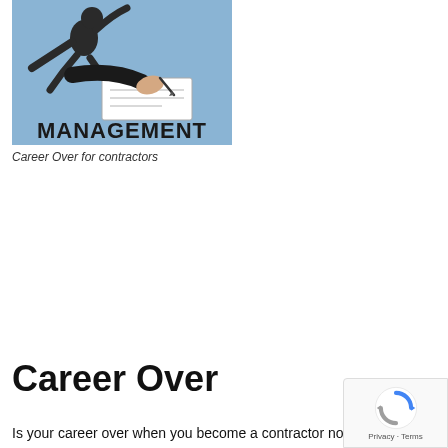[Figure (illustration): Illustration showing a hand signing or writing on a document, with a business/management theme. Blue background with dark silhouette figures. Bold text 'MANAGEMENT' at the bottom of the image.]
Career Over for contractors
Career Over
Is your career over when you become a contractor now?